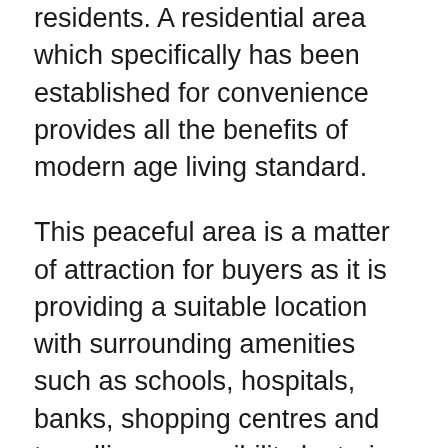residents. A residential area which specifically has been established for convenience provides all the benefits of modern age living standard.
This peaceful area is a matter of attraction for buyers as it is providing a suitable location with surrounding amenities such as schools, hospitals, banks, shopping centres and travelling accessibility by train or bus. There are other facilities such as Kids pool, children playground, Maze garden, swimming pool, indoor gym, Tennis court, and Fitness Corner. You can find well furnished bedrooms, study penthouse and Strata Landed Cluster House in the heart of Thomson Impressions. You can access a number of renowned educational institutions in the vicinity. A number of schools including Anderson Primary school, Ang Mo